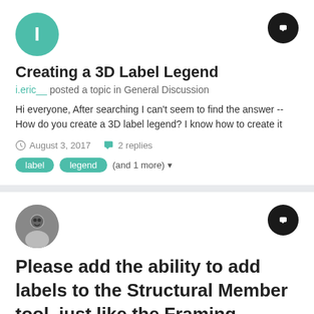[Figure (illustration): Teal circular avatar with white letter I]
[Figure (illustration): Black circular chat bubble button icon]
Creating a 3D Label Legend
i.eric__ posted a topic in General Discussion
Hi everyone, After searching I can't seem to find the answer -- How do you create a 3D label legend? I know how to create it
August 3, 2017   2 replies
label
legend
(and 1 more)
[Figure (photo): Circular photo avatar of a person]
[Figure (illustration): Black circular chat bubble button icon]
Please add the ability to add labels to the Structural Member tool, just like the Framing Member tool. But with the ability to class the label, like the Column Tool.
twk posted a question in Wishlist - Feature and Content